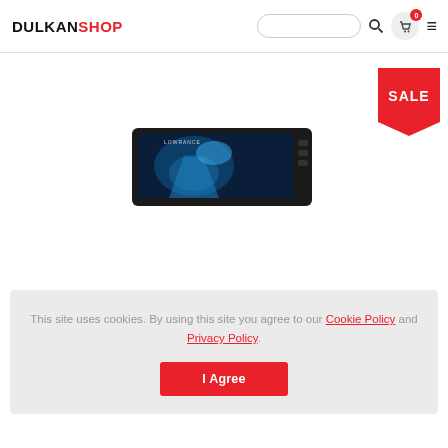DULKANSHOP — search bar, cart (0), menu
[Figure (screenshot): SALE badge (red speech-bubble shape) in upper right of product area]
[Figure (photo): Lowrance marine chartplotter/fishfinder device angled view showing screen with sonar display]
This site uses cookies. By using this site you agree to our Cookie Policy and Privacy Policy.
I Agree